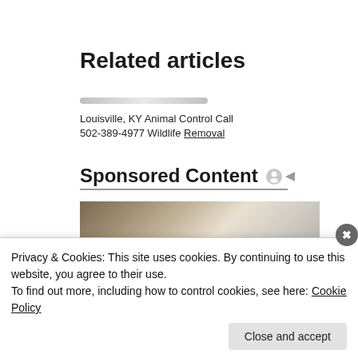Related articles
Louisville, KY Animal Control Call 502-389-4977 Wildlife Removal
Sponsored Content
[Figure (photo): Outdoor winter tree scene photo for sponsored content]
Privacy & Cookies: This site uses cookies. By continuing to use this website, you agree to their use.
To find out more, including how to control cookies, see here: Cookie Policy